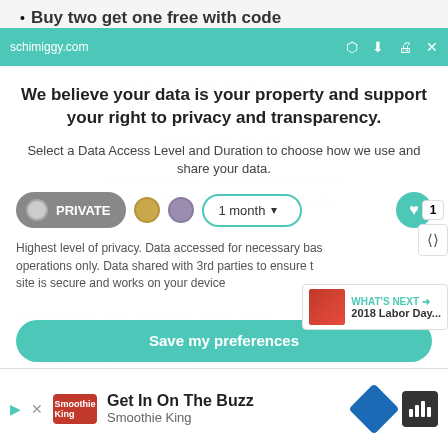schimiggy.com
Buy two get one free with code GETONEFREE
We believe your data is your property and support your right to privacy and transparency.
Select a Data Access Level and Duration to choose how we use and share your data.
[Figure (screenshot): Privacy toggle UI with PRIVATE toggle, two colored dots (gold, purple), and a '1 month' dropdown selector with teal heart button]
Highest level of privacy. Data accessed for necessary basic operations only. Data shared with 3rd parties to ensure the site is secure and works on your device
Arthletic Wear: Use code REPLAY for 25%?
Beach Bunny: Activewear is $15-30 a niece.
Save on high-end activewear.
Save my preferences
Body Angel Activewear: 20% off with code
[Figure (screenshot): WHAT'S NEXT box with 2018 Labor Day... label and thumbnail]
WHAT'S NEXT → 2018 Labor Day...
Get In On The Buzz — Smoothie King advertisement